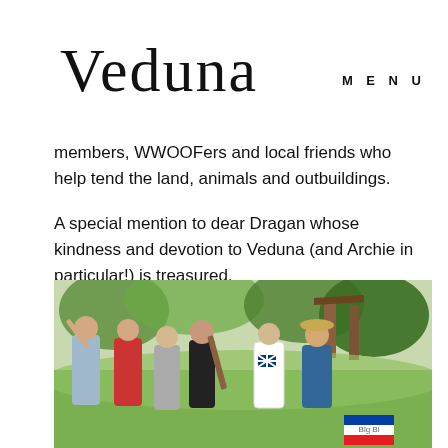Veduna
MENU
members, WWOOFers and local friends who help tend the land, animals and outbuildings.
A special mention to dear Dragan whose kindness and devotion to Veduna (and Archie in particular!) is treasured.
[Figure (photo): Group of six young people standing outdoors on grass with trees and wooden structures in the background, some with country flags visible (UK and Slovenian flags). One person holds a cricket bat.]